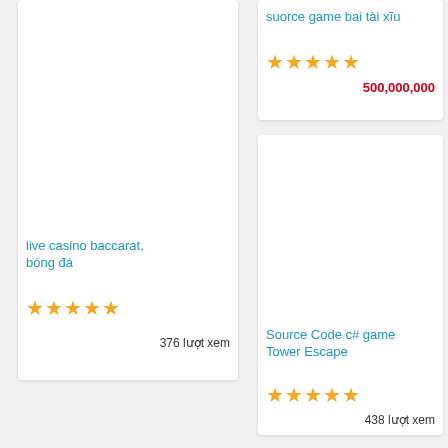live casino baccarat, bóng đá
★★★★★
376 lượt xem
suorce game bai tài xĩu
★★★★★
500,000,000
Source Code c# game Tower Escape
★★★★★
438 lượt xem